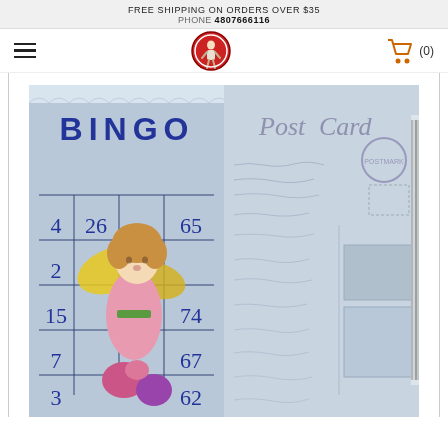FREE SHIPPING ON ORDERS OVER $35
PHONE 4807666116
[Figure (logo): Navigation bar with hamburger menu icon, circular logo with figure, and shopping cart icon showing (0)]
[Figure (photo): Product image showing a decorative paper/decoupage sheet with two panels: left panel shows a vintage bingo card with a fairy girl child wearing pink dress and yellow wings standing in front of bingo numbers (4, 26, 3, 65, 2, 15, 74, 7, 67, 3, 62), BINGO text at top; right panel shows a vintage Post Card design with cursive handwriting background and decorative elements.]